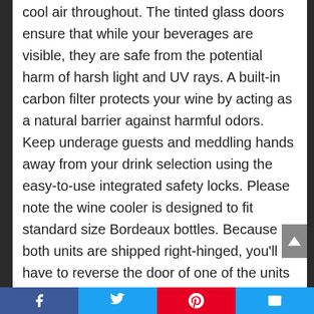cool air throughout. The tinted glass doors ensure that while your beverages are visible, they are safe from the potential harm of harsh light and UV rays. A built-in carbon filter protects your wine by acting as a natural barrier against harmful odors. Keep underage guests and meddling hands away from your drink selection using the easy-to-use integrated safety locks. Please note the wine cooler is designed to fit standard size Bordeaux bottles. Because both units are shipped right-hinged, you'll have to reverse the door of one of the units (to create a French door design). Wine temp. range: 41-54 °F (lower); 54-64 °F (upper); Input
Facebook | Twitter | Pinterest | Email